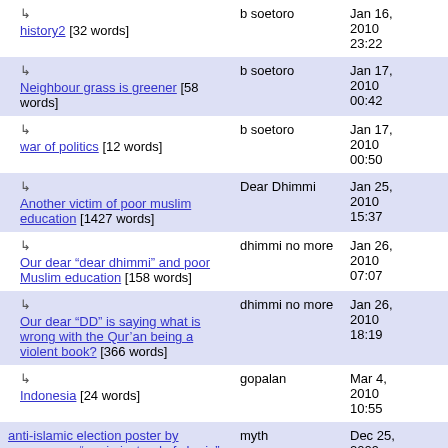| Post | Author | Date |
| --- | --- | --- |
| ↳ history2 [32 words] | b soetoro | Jan 16, 2010 23:22 |
| ↳ Neighbour grass is greener [58 words] | b soetoro | Jan 17, 2010 00:42 |
| ↳ war of politics [12 words] | b soetoro | Jan 17, 2010 00:50 |
| ↳ Another victim of poor muslim education [1427 words] | Dear Dhimmi | Jan 25, 2010 15:37 |
| ↳ Our dear "dear dhimmi" and poor Muslim education [158 words] | dhimmi no more | Jan 26, 2010 07:07 |
| ↳ Our dear "DD" is saying what is wrong with the Qur'an being a violent book? [366 words] | dhimmi no more | Jan 26, 2010 18:19 |
| ↳ Indonesia [24 words] | gopalan | Mar 4, 2010 10:55 |
| anti-islamic election poster by german svp "maria instead of sharia" [87 words] | myth | Dec 25, 2009 16:13 |